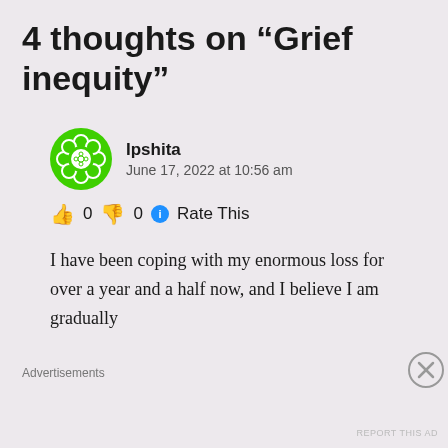4 thoughts on “Grief inequity”
Ipshita
June 17, 2022 at 10:56 am
👍 0 👎 0 ℹ Rate This
I have been coping with my enormous loss for over a year and a half now, and I believe I am gradually
Advertisements